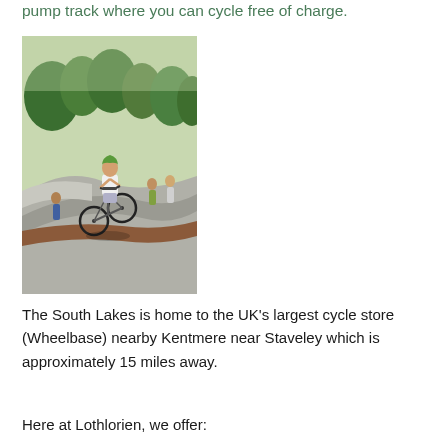pump track where you can cycle free of charge.
[Figure (photo): A person riding a bicycle on a concrete pump track, wearing a green helmet and white t-shirt. Several people stand watching in the background. Green trees and grass surround the track.]
The South Lakes is home to the UK's largest cycle store (Wheelbase) nearby Kentmere near Staveley which is approximately 15 miles away.
Here at Lothlorien, we offer: